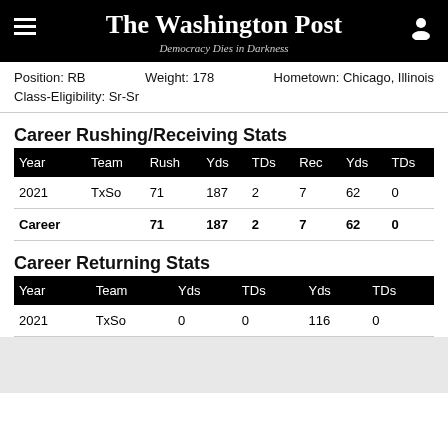The Washington Post — Democracy Dies in Darkness
Position: RB   Weight: 178   Hometown: Chicago, Illinois   Class-Eligibility: Sr-Sr
Career Rushing/Receiving Stats
| Year | Team | Rush | Yds | TDs | Rec | Yds | TDs |
| --- | --- | --- | --- | --- | --- | --- | --- |
| 2021 | TxSo | 71 | 187 | 2 | 7 | 62 | 0 |
| Career |  | 71 | 187 | 2 | 7 | 62 | 0 |
Career Returning Stats
| Year | Team | Yds | TDs | Yds | TDs |
| --- | --- | --- | --- | --- | --- |
| 2021 | TxSo | 0 | 0 | 116 | 0 |